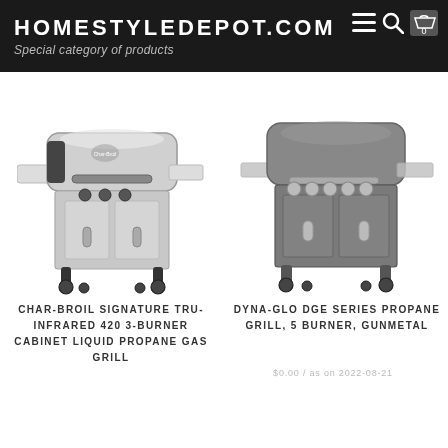HOMESTYLEDEPOT.COM
Special category of products
[Figure (photo): Char-Broil Signature Tru-Infrared 420 3-Burner Cabinet Liquid Propane Gas Grill, stainless steel and black]
CHAR-BROIL SIGNATURE TRU-INFRARED 420 3-BURNER CABINET LIQUID PROPANE GAS GRILL
[Figure (photo): Dyna-Glo DGE Series Propane Grill, 5 Burner, Gunmetal color]
DYNA-GLO DGE SERIES PROPANE GRILL, 5 BURNER, GUNMETAL
$0.00 / as on 2022-08-21